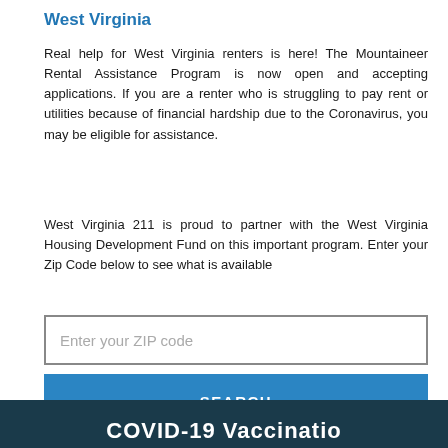West Virginia
Real help for West Virginia renters is here! The Mountaineer Rental Assistance Program is now open and accepting applications. If you are a renter who is struggling to pay rent or utilities because of financial hardship due to the Coronavirus, you may be eligible for assistance.
West Virginia 211 is proud to partner with the West Virginia Housing Development Fund on this important program. Enter your Zip Code below to see what is available
[Figure (other): ZIP code input text field with placeholder text 'Enter your ZIP code']
[Figure (other): Blue SEARCH button]
COVID-19 Vaccinatio